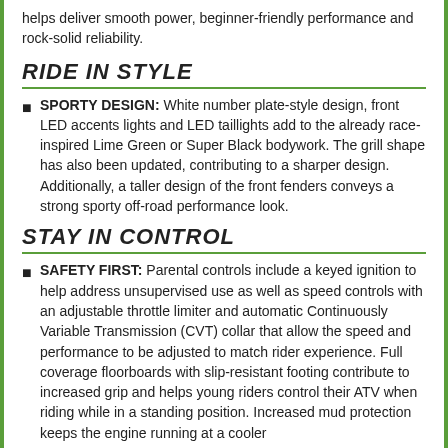helps deliver smooth power, beginner-friendly performance and rock-solid reliability.
RIDE IN STYLE
SPORTY DESIGN: White number plate-style design, front LED accents lights and LED taillights add to the already race-inspired Lime Green or Super Black bodywork. The grill shape has also been updated, contributing to a sharper design. Additionally, a taller design of the front fenders conveys a strong sporty off-road performance look.
STAY IN CONTROL
SAFETY FIRST: Parental controls include a keyed ignition to help address unsupervised use as well as speed controls with an adjustable throttle limiter and automatic Continuously Variable Transmission (CVT) collar that allow the speed and performance to be adjusted to match rider experience. Full coverage floorboards with slip-resistant footing contribute to increased grip and helps young riders control their ATV when riding while in a standing position. Increased mud protection keeps the engine running at a cooler